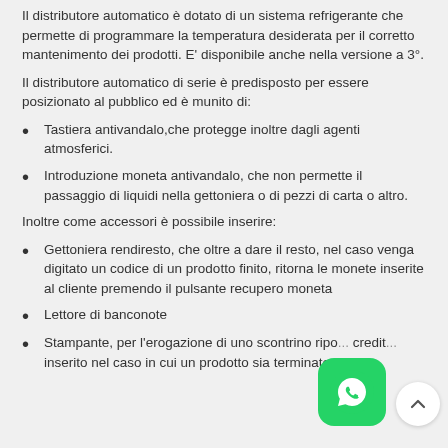Il distributore automatico è dotato di un sistema refrigerante che permette di programmare la temperatura desiderata per il corretto mantenimento dei prodotti. E' disponibile anche nella versione a 3°.
Il distributore automatico di serie è predisposto per essere posizionato al pubblico ed è munito di:
Tastiera antivandalo,che protegge inoltre dagli agenti atmosferici.
Introduzione moneta antivandalo, che non permette il passaggio di liquidi nella gettoniera o di pezzi di carta o altro.
Inoltre come accessori è possibile inserire:
Gettoniera rendiresto, che oltre a dare il resto, nel caso venga digitato un codice di un prodotto finito, ritorna le monete inserite al cliente premendo il pulsante recupero moneta
Lettore di banconote
Stampante, per l'erogazione di uno scontrino ripo... credit... inserito nel caso in cui un prodotto sia terminato